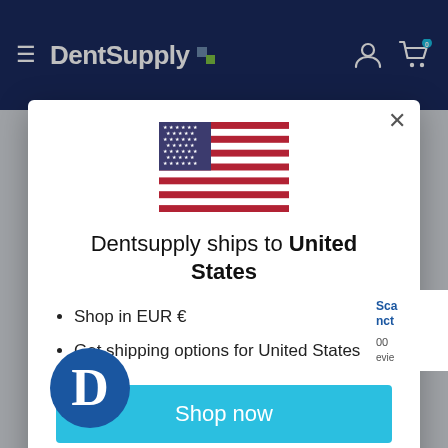DentSupply
[Figure (screenshot): US flag emoji / illustration — stars and stripes flag]
Dentsupply ships to United States
Shop in EUR €
Get shipping options for United States
Shop now
Change shipping country